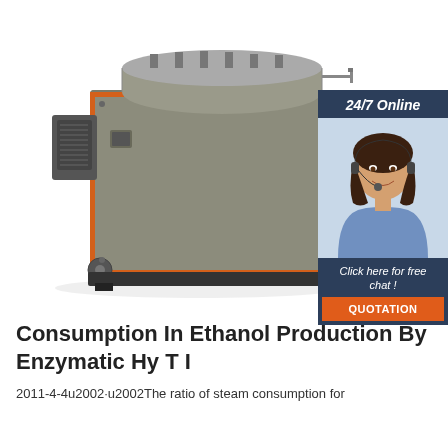[Figure (photo): Industrial steam boiler unit shown in 3/4 perspective view. The boiler is a large rectangular grey metal unit with orange trim/accent lines on the front face. It has a cylindrical drum on top, a ventilation/burner unit on the left side, and sits on a black base frame. Various pipes and fittings are visible. To the right is an advertisement overlay showing a customer service agent (woman with headset) and buttons for free chat/quotation.]
Consumption In Ethanol Production By Enzymatic Hy T I
2011-4-4u2002·u2002The ratio of steam consumption for